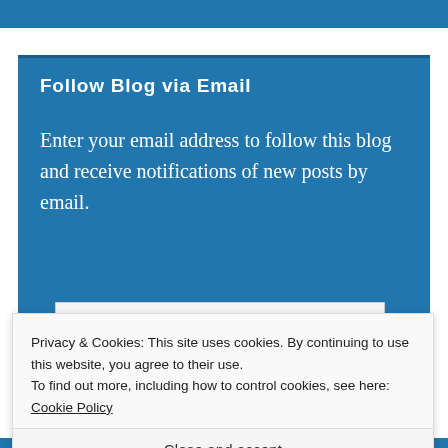Follow Blog via Email
Enter your email address to follow this blog and receive notifications of new posts by email.
Enter your email address
Privacy & Cookies: This site uses cookies. By continuing to use this website, you agree to their use.
To find out more, including how to control cookies, see here: Cookie Policy
Close and accept